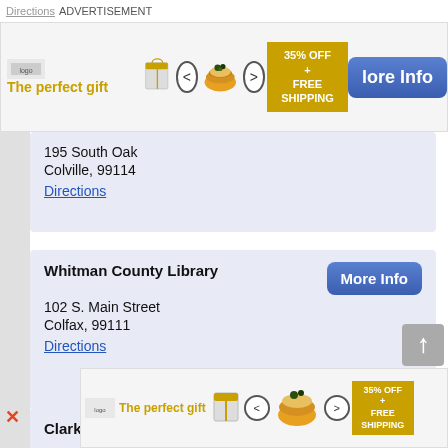Directions  ADVERTISEMENT
[Figure (infographic): Advertisement banner: 'The perfect gift' with food bowl image, arrows, 35% OFF + FREE SHIPPING promo box, and More Info button]
195 South Oak
Colville, 99114
Directions
Whitman County Library
102 S. Main Street
Colfax, 99111
Directions
Clark Bookmobile
1007 E Mill Plain Blvd
Vancouver, 98663
Directions
[Figure (infographic): Bottom advertisement banner: 'The perfect gift' with food bowl image, arrows, 35% OFF + FREE SHIPPING promo box]